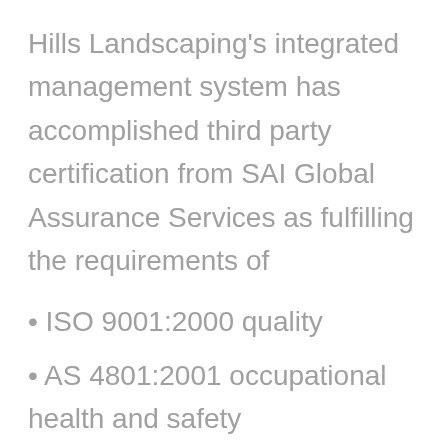Hills Landscaping's integrated management system has accomplished third party certification from SAI Global Assurance Services as fulfilling the requirements of
• ISO 9001:2000 quality
• AS 4801:2001 occupational health and safety
• ISO 14001:2004 environmental management